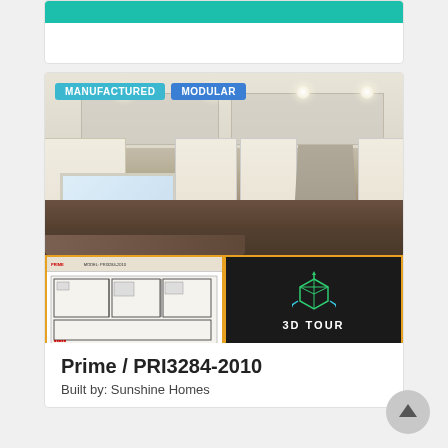[Figure (photo): Partial teal button/bar at top of page, remnant of UI element above the fold]
[Figure (photo): Interior kitchen photo of a manufactured/modular home showing white upper cabinets with open shelving, stainless steel range hood, subway tile backsplash, dark granite island countertop, hardwood flooring. Two overlay thumbnail images at bottom: a floor plan drawing and a 3D Tour interactive icon. Tags 'MANUFACTURED' and 'MODULAR' overlaid in top-left corner.]
Prime / PRI3284-2010
Built by: Sunshine Homes